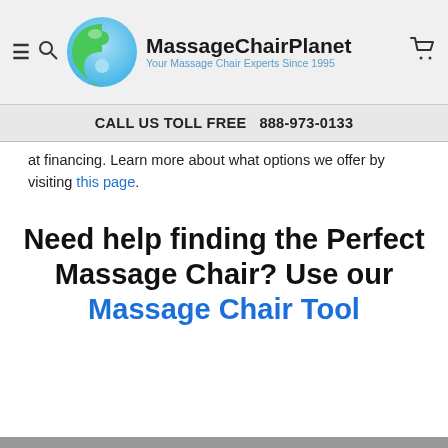MassageChairPlanet — Your Massage Chair Experts Since 1995
CALL US TOLL FREE  888-973-0133
at financing. Learn more about what options we offer by visiting this page.
Need help finding the Perfect Massage Chair? Use our Massage Chair Tool